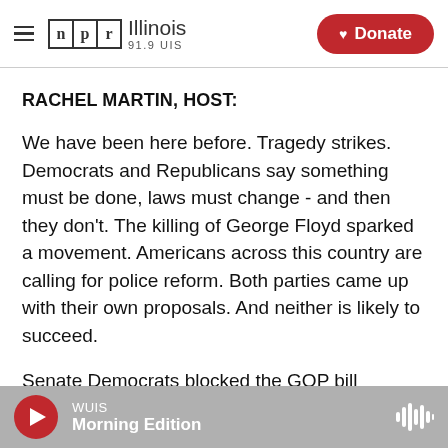NPR Illinois 91.9 UIS | Donate
RACHEL MARTIN, HOST:
We have been here before. Tragedy strikes. Democrats and Republicans say something must be done, laws must change - and then they don't. The killing of George Floyd sparked a movement. Americans across this country are calling for police reform. Both parties came up with their own proposals. And neither is likely to succeed.
Senate Democrats blocked the GOP bill yesterday, arguing that it failed to meet the moment. The
WUIS Morning Edition